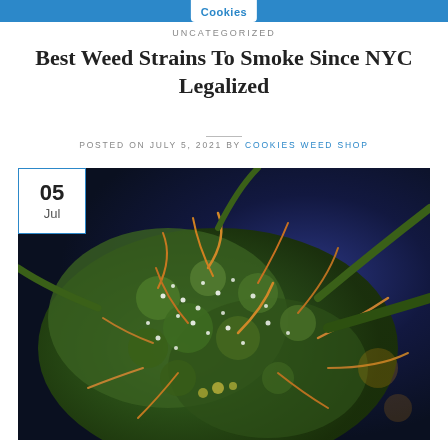Cookies
UNCATEGORIZED
Best Weed Strains To Smoke Since NYC Legalized
POSTED ON JULY 5, 2021 BY COOKIES WEED SHOP
[Figure (photo): Close-up macro photograph of a cannabis bud with orange pistils, green calyxes, white trichomes against a dark blue background, with a date badge showing 05 Jul in the top-left corner]